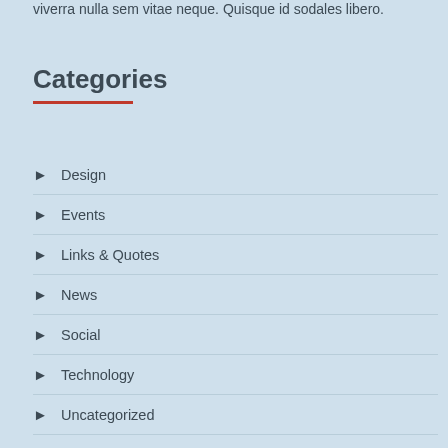viverra nulla sem vitae neque. Quisque id sodales libero.
Categories
Design
Events
Links & Quotes
News
Social
Technology
Uncategorized
Videos